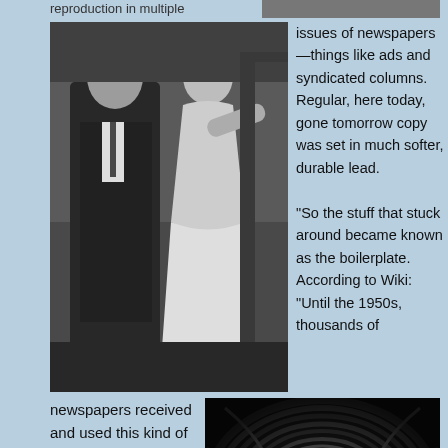reproduction in multiple
[Figure (photo): Partial top-right image, cropped]
[Figure (photo): Black and white film still showing a man in a dark coat and a woman in a light dress appearing to dance or interact in an interior setting]
issues of newspapers—things like ads and syndicated columns. Regular, here today, gone tomorrow copy was set in much softer, durable lead.

"So the stuff that stuck around became known as the boilerplate. According to Wiki: "Until the 1950s, thousands of
newspapers received and used this kind of boilerplate from the nation's largest
[Figure (photo): Close-up of a gun barrel tunnel view with a figure silhouetted against a red circle with hammer and sickle symbol, styled like a James Bond gun barrel sequence]